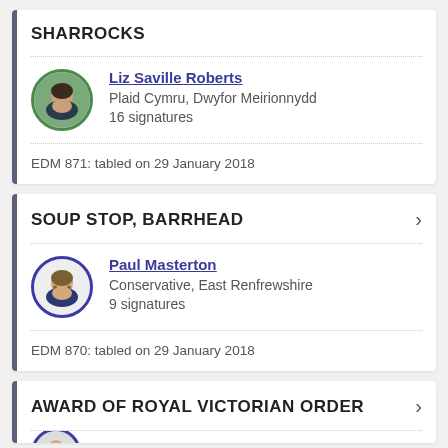SHARROCKS
Liz Saville Roberts
Plaid Cymru, Dwyfor Meirionnydd
16 signatures
EDM 871: tabled on 29 January 2018
SOUP STOP, BARRHEAD
Paul Masterton
Conservative, East Renfrewshire
9 signatures
EDM 870: tabled on 29 January 2018
AWARD OF ROYAL VICTORIAN ORDER